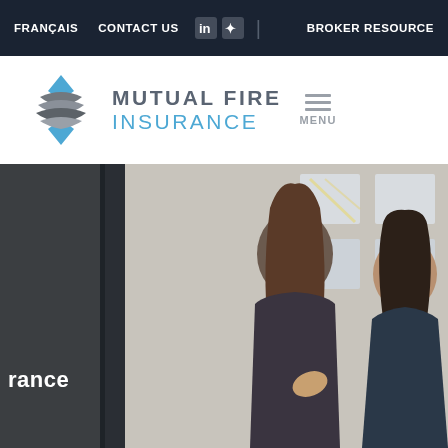FRANÇAIS   CONTACT US   [LinkedIn] [Twitter]  |  BROKER RESOURCE
[Figure (logo): Mutual Fire Insurance logo with diamond/shield graphic in blue and grey, company name in two-tone text, and hamburger menu icon labeled MENU]
[Figure (photo): Hero photograph of two women smiling and conversing in an office/urban setting. Dark overlay on left side with partially visible text ending in 'rance'.]